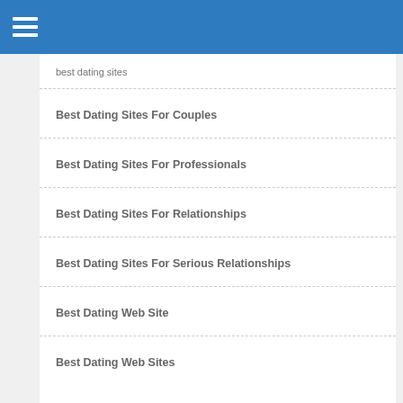best dating sites
Best Dating Sites For Couples
Best Dating Sites For Professionals
Best Dating Sites For Relationships
Best Dating Sites For Serious Relationships
Best Dating Web Site
Best Dating Web Sites